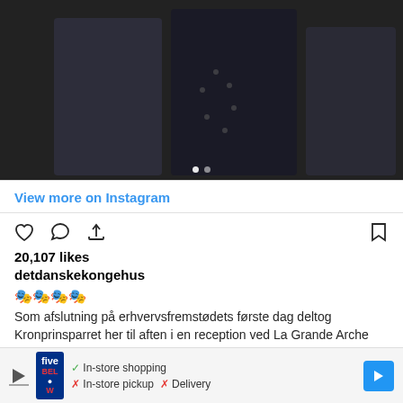[Figure (photo): Instagram post photo showing people at an event, dark background, appears to be a social gathering or reception. Slide indicator dots visible at bottom.]
View more on Instagram
[Figure (infographic): Instagram action icons row: heart (like), speech bubble (comment), share arrow, and bookmark icon on the right.]
20,107 likes
detdanskekongehus
🎭🎭🎭🎭
Som afslutning på erhvervsfremstødets første dag deltog Kronprinsparret her til aften i en reception ved La Grande Arche (på dansk kendt som Den nye Triumfbue) i anledning af 30-års jubilæet for monumentet.
La Grande Arche er et kulturmonument og en kontorbygning fra 1989, tegnet af den danske arkitekt Johan Otto von Spreckelsen. Bygningen er et vartegn for
[Figure (infographic): Five Below advertisement banner: logo, checkmark for In-store shopping, X for In-store pickup, X for Delivery, and blue arrow navigation button.]